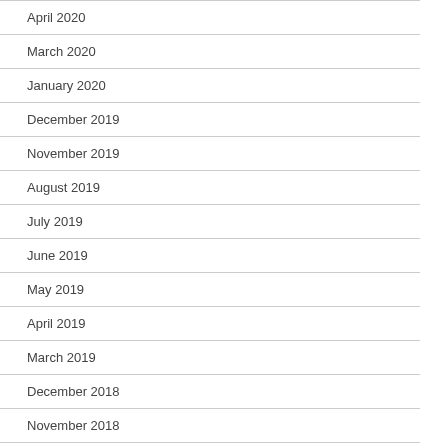April 2020
March 2020
January 2020
December 2019
November 2019
August 2019
July 2019
June 2019
May 2019
April 2019
March 2019
December 2018
November 2018